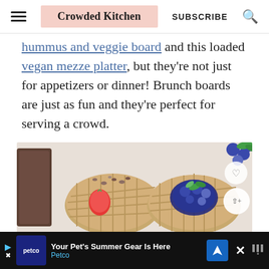Crowded Kitchen | SUBSCRIBE
hummus and veggie board and this loaded vegan mezze platter, but they're not just for appetizers or dinner! Brunch boards are just as fun and they're perfect for serving a crowd.
[Figure (photo): Overhead photo of two waffles topped with berries and granola on a light background, with strawberry on one and blueberries with mint on another, alongside a dark-colored board]
Your Pet's Summer Gear Is Here Petco